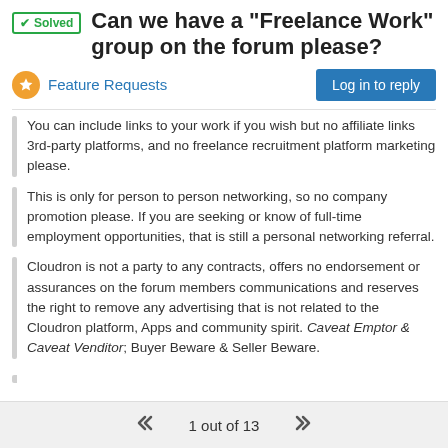✓ Solved  Can we have a "Freelance Work" group on the forum please?
Feature Requests
You can include links to your work if you wish but no affiliate links 3rd-party platforms, and no freelance recruitment platform marketing please.
This is only for person to person networking, so no company promotion please. If you are seeking or know of full-time employment opportunities, that is still a personal networking referral.
Cloudron is not a party to any contracts, offers no endorsement or assurances on the forum members communications and reserves the right to remove any advertising that is not related to the Cloudron platform, Apps and community spirit. Caveat Emptor & Caveat Venditor; Buyer Beware & Seller Beware.
1 out of 13